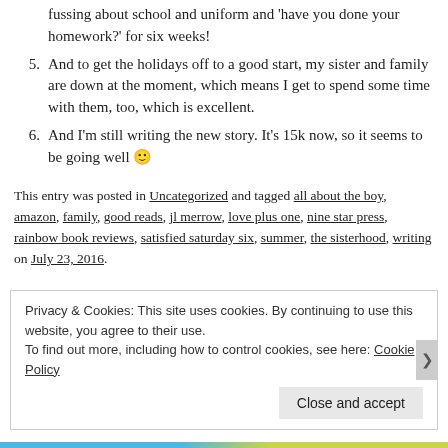fussing about school and uniform and 'have you done your homework?' for six weeks!
5. And to get the holidays off to a good start, my sister and family are down at the moment, which means I get to spend some time with them, too, which is excellent.
6. And I'm still writing the new story. It's 15k now, so it seems to be going well 🙂
This entry was posted in Uncategorized and tagged all about the boy, amazon, family, good reads, jl merrow, love plus one, nine star press, rainbow book reviews, satisfied saturday six, summer, the sisterhood, writing on July 23, 2016.
Privacy & Cookies: This site uses cookies. By continuing to use this website, you agree to their use. To find out more, including how to control cookies, see here: Cookie Policy